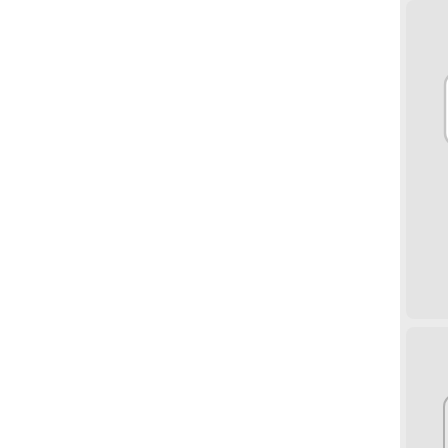[Figure (screenshot): File manager icon grid showing image-x-... (50x50, 2013/07/25 10:00, 2.3 KB), image-x-... (50x50, 2013/07/25 10:00, 3 KB), inks... (partially visible), input-key... (50x50, 2013/07/25 10:01, 2.8 KB), input-mo... (50x50, 2013/07/25 10:01, 2.8 KB), jdo... (partially visible), and three more icons at bottom (memory chip, key, blue circle partially visible)]